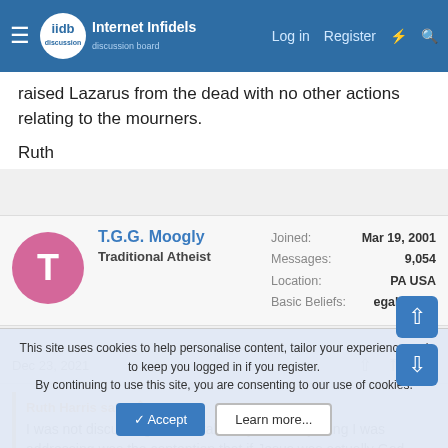[Figure (screenshot): Internet Infidels discussion board navigation bar with hamburger menu, logo, Log in, Register, and search icons on blue background]
raised Lazarus from the dead with no other actions relating to the mourners.
Ruth
[Figure (other): User avatar: pink circle with letter T]
T.G.G. Moogly
Traditional Atheist
Joined: Mar 19, 2001
Messages: 9,054
Location: PA USA
Basic Beliefs: egalitarian
Dec 23, 2021
#31
Ruth Harris said:
I was not discussing the overall story. The only thing I was addressing was the contention that if Jesus was actually God, he would not have
This site uses cookies to help personalise content, tailor your experience and to keep you logged in if you register.
By continuing to use this site, you are consenting to our use of cookies.
Accept
Learn more...